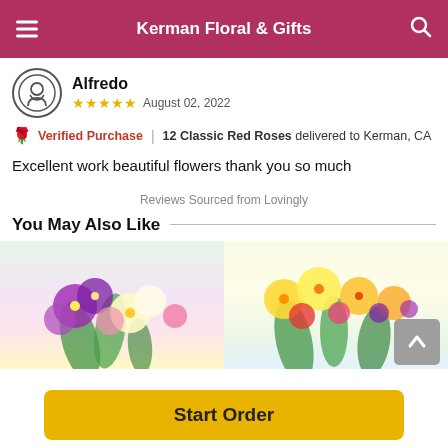Kerman Floral & Gifts
Alfredo
★★★★★  August 02, 2022
🌹 Verified Purchase | 12 Classic Red Roses delivered to Kerman, CA
Excellent work beautiful flowers thank you so much
Reviews Sourced from Lovingly
You May Also Like
[Figure (photo): Two flower bouquet product images side by side]
Start Order